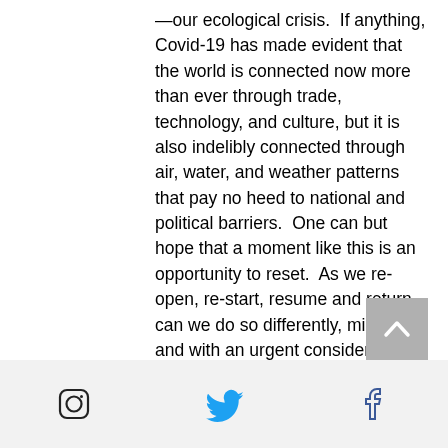—our ecological crisis.  If anything, Covid-19 has made evident that the world is connected now more than ever through trade, technology, and culture, but it is also indelibly connected through air, water, and weather patterns that pay no heed to national and political barriers.  One can but hope that a moment like this is an opportunity to reset.  As we re-open, re-start, resume and return, can we do so differently, mindfully and with an urgent consideration for those most affected by this disease who are, and will be, those most affected by climate change?
[Figure (other): Scroll-to-top button: grey square with white upward chevron]
Social media icons: Instagram, Twitter, Facebook